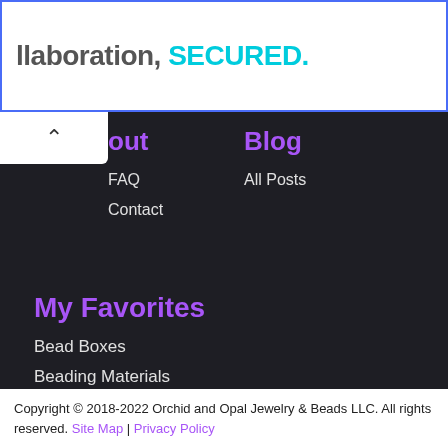[Figure (screenshot): Ad banner with text 'llaboration, SECURED.' in grey and cyan bold text on white background with blue border]
out
Blog
FAQ
Contact
All Posts
My Favorites
Bead Boxes
Beading Materials
Bead Storage
Online Shopping
Copyright © 2018-2022 Orchid and Opal Jewelry & Beads LLC. All rights reserved. Site Map | Privacy Policy